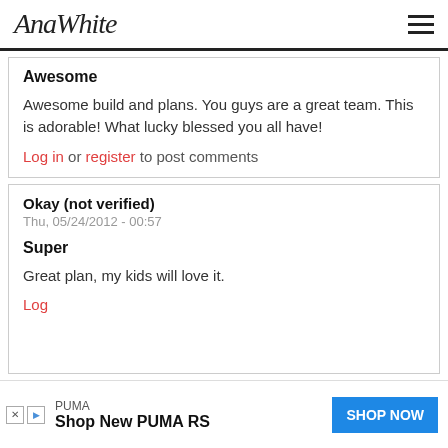AnaWhite
Awesome
Awesome build and plans. You guys are a great team. This is adorable! What lucky blessed you all have!
Log in or register to post comments
Okay (not verified)
Thu, 05/24/2012 - 00:57
Super
Great plan, my kids will love it.
Log
PUMA
Shop New PUMA RS
SHOP NOW